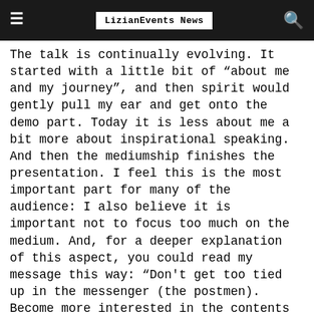LizianEvents News
The talk is continually evolving. It started with a little bit of “about me and my journey”, and then spirit would gently pull my ear and get onto the demo part. Today it is less about me a bit more about inspirational speaking. And then the mediumship finishes the presentation. I feel this is the most important part for many of the audience: I also believe it is important not to focus too much on the medium. And, for a deeper explanation of this aspect, you could read my message this way: “Don't get too tied up in the messenger (the postmen). Become more interested in the contents of the letter. It is my feeling that as long as we get the message does it matter who delivers it?
I love talking. I love working with energy. and I